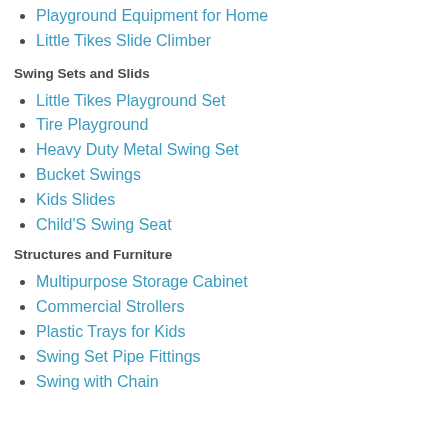Playground Equipment for Home
Little Tikes Slide Climber
Swing Sets and Slids
Little Tikes Playground Set
Tire Playground
Heavy Duty Metal Swing Set
Bucket Swings
Kids Slides
Child'S Swing Seat
Structures and Furniture
Multipurpose Storage Cabinet
Commercial Strollers
Plastic Trays for Kids
Swing Set Pipe Fittings
Swing with Chain